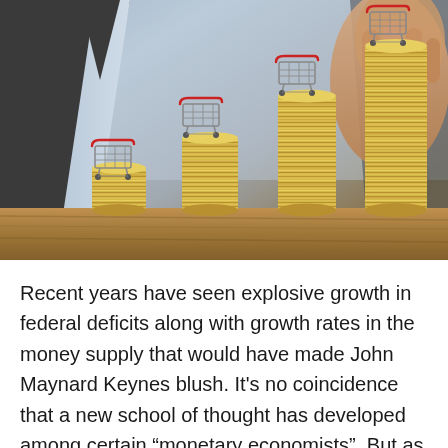[Figure (photo): Photo of four progressively taller stacks of gold coins on a wooden surface, each with a miniature shopping cart on top, and a hand (in a suit) placing/touching the tallest stack on the right. The image illustrates growth in consumer spending or inflation.]
Recent years have seen explosive growth in federal deficits along with growth rates in the money supply that would have made John Maynard Keynes blush. It's no coincidence that a new school of thought has developed among certain “monetary economists”. But as someone trained in monetary economics, I wish I could make those